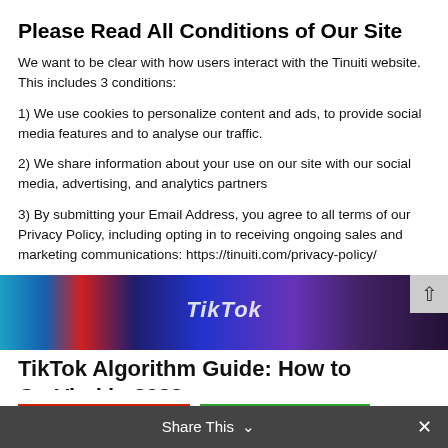Please Read All Conditions of Our Site
We want to be clear with how users interact with the Tinuiti website. This includes 3 conditions:
1) We use cookies to personalize content and ads, to provide social media features and to analyse our traffic.
2) We share information about your use on our site with our social media, advertising, and analytics partners
3) By submitting your Email Address, you agree to all terms of our Privacy Policy, including opting in to receiving ongoing sales and marketing communications: https://tinuiti.com/privacy-policy/
Decline all 3 conditions | Accept all 3 conditions | Show details
[Figure (photo): TikTok branded background image with colorful gradient]
TikTok Algorithm Guide: How to Go Viral in 2022
Aug 11, 2022
Share This ∨  ×